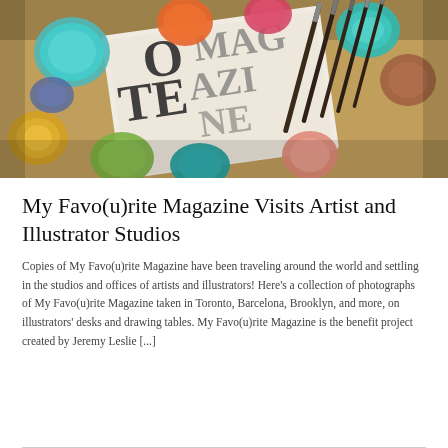[Figure (photo): Overhead photo of colorful paint cups/jars in various colors (teal, orange, red, yellow, green, brown, pink), several paintbrushes arranged to the right, and a magazine or paper with large letters visible in the center, on a wooden surface.]
My Favo(u)rite Magazine Visits Artist and Illustrator Studios
Copies of My Favo(u)rite Magazine have been traveling around the world and settling in the studios and offices of artists and illustrators! Here's a collection of photographs of My Favo(u)rite Magazine taken in Toronto, Barcelona, Brooklyn, and more, on illustrators' desks and drawing tables. My Favo(u)rite Magazine is the benefit project created by Jeremy Leslie [...]